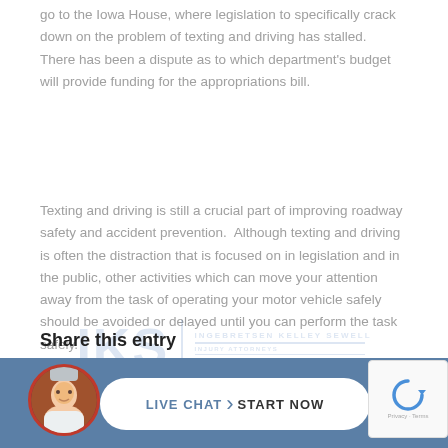go to the Iowa House, where legislation to specifically crack down on the problem of texting and driving has stalled. There has been a dispute as to which department's budget will provide funding for the appropriations bill.
Texting and driving is still a crucial part of improving roadway safety and accident prevention. Although texting and driving is often the distraction that is focused on in legislation and in the public, other activities which can move your attention away from the task of operating your motor vehicle safely should be avoided or delayed until you can perform the task safely.
[Figure (logo): IKS Ingebretsen Kelley Sewell Injury Attorneys watermark logo with circular element]
Share this entry
[Figure (photo): Live Chat Start Now button with attorney photo avatar on blue bar at bottom of page, with reCAPTCHA widget]